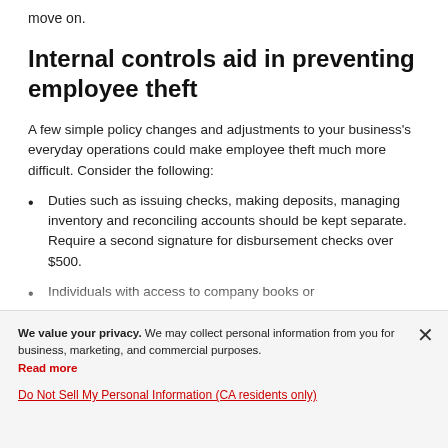move on.
Internal controls aid in preventing employee theft
A few simple policy changes and adjustments to your business's everyday operations could make employee theft much more difficult. Consider the following:
Duties such as issuing checks, making deposits, managing inventory and reconciling accounts should be kept separate. Require a second signature for disbursement checks over $500.
Individuals with access to company books or
We value your privacy. We may collect personal information from you for business, marketing, and commercial purposes. Read more
Do Not Sell My Personal Information (CA residents only)